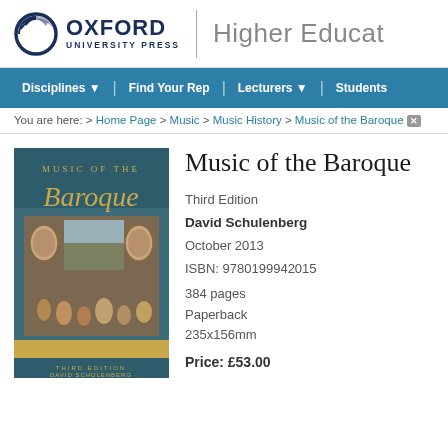[Figure (logo): Oxford University Press logo with circular icon and text]
Higher Educa
Disciplines ▼  |  Find Your Rep  |  Lecturers ▼  |  Students
You are here: > Home Page > Music > Music History > Music of the Baroque ✕
[Figure (photo): Book cover for Music of the Baroque, Third Edition by David Schulenberg]
Music of the Baroque
Third Edition
David Schulenberg
October 2013
ISBN: 9780199942015
384 pages
Paperback
235x156mm
Price: £53.00